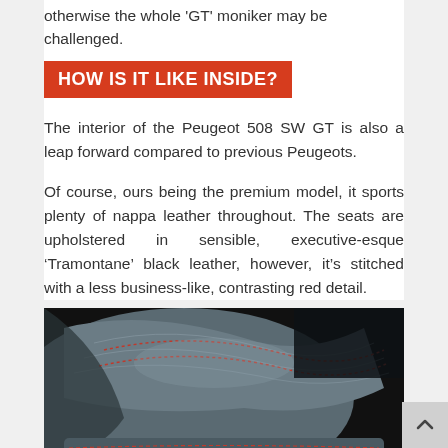otherwise the whole 'GT' moniker may be challenged.
HOW IS IT LIKE INSIDE?
The interior of the Peugeot 508 SW GT is also a leap forward compared to previous Peugeots.
Of course, ours being the premium model, it sports plenty of nappa leather throughout. The seats are upholstered in sensible, executive-esque ‘Tramontane’ black leather, however, it’s stitched with a less business-like, contrasting red detail.
[Figure (photo): Close-up photo of Peugeot 508 SW GT black leather car seat with red stitching detail]